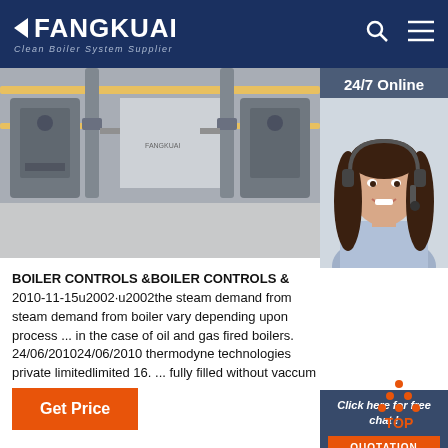FANGKUAI Clean Boiler System Supplier
[Figure (photo): Industrial boiler room with pipes, valves, and equipment]
[Figure (photo): 24/7 Online customer service agent - woman with headset smiling]
BOILER CONTROLS &BOILER CONTROLS & 2010-11-15u2002·u2002the steam demand from steam demand from boiler vary depending upon process ... in the case of oil and gas fired boilers. 24/06/201024/06/2010 thermodyne technologies private limitedlimited 16. ... fully filled without vaccum . ...
Click here for free chat !
QUOTATION
Get Price
TOP